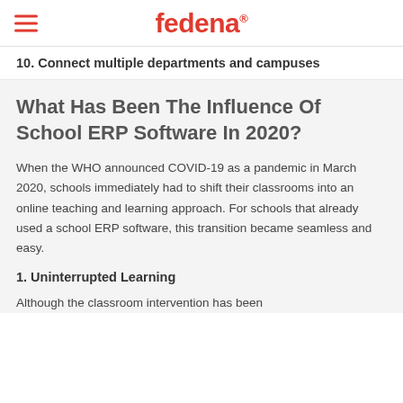fedena
10. Connect multiple departments and campuses
What Has Been The Influence Of School ERP Software In 2020?
When the WHO announced COVID-19 as a pandemic in March 2020, schools immediately had to shift their classrooms into an online teaching and learning approach. For schools that already used a school ERP software, this transition became seamless and easy.
1. Uninterrupted Learning
Although the classroom intervention has been